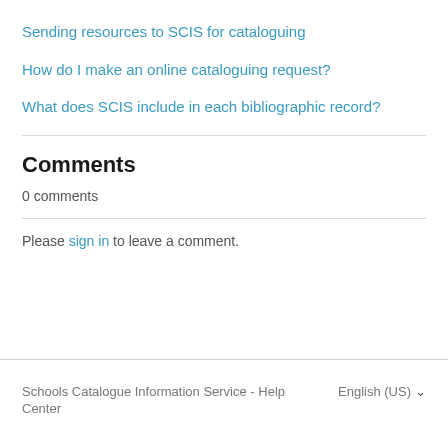Sending resources to SCIS for cataloguing
How do I make an online cataloguing request?
What does SCIS include in each bibliographic record?
Comments
0 comments
Please sign in to leave a comment.
Schools Catalogue Information Service - Help Center   English (US) ▾